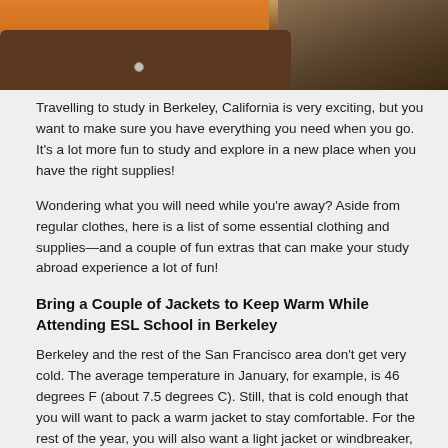[Figure (photo): Photograph of a suitcase open with orange clothing and books stacked to the right, travel-themed image]
Travelling to study in Berkeley, California is very exciting, but you want to make sure you have everything you need when you go. It's a lot more fun to study and explore in a new place when you have the right supplies!
Wondering what you will need while you're away? Aside from regular clothes, here is a list of some essential clothing and supplies—and a couple of fun extras that can make your study abroad experience a lot of fun!
Bring a Couple of Jackets to Keep Warm While Attending ESL School in Berkeley
Berkeley and the rest of the San Francisco area don't get very cold. The average temperature in January, for example, is 46 degrees F (about 7.5 degrees C). Still, that is cold enough that you will want to pack a warm jacket to stay comfortable. For the rest of the year, you will also want a light jacket or windbreaker, as it can be very windy—even in the summer. Bring these jackets with you and you will be able to stay warm and comfortable in any season!